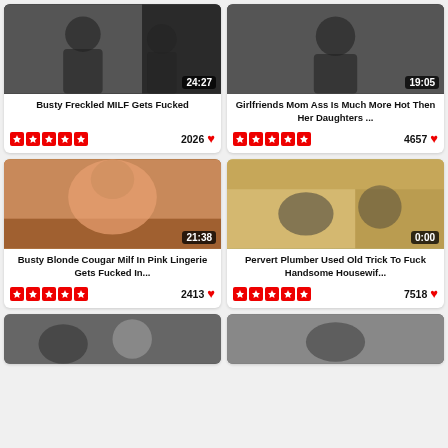[Figure (screenshot): Video thumbnail grid showing adult video website with 6 video cards in 2 columns]
Busty Freckled MILF Gets Fucked
2026
Girlfriends Mom Ass Is Much More Hot Then Her Daughters ...
4657
Busty Blonde Cougar Milf In Pink Lingerie Gets Fucked In...
2413
Pervert Plumber Used Old Trick To Fuck Handsome Housewif...
7518